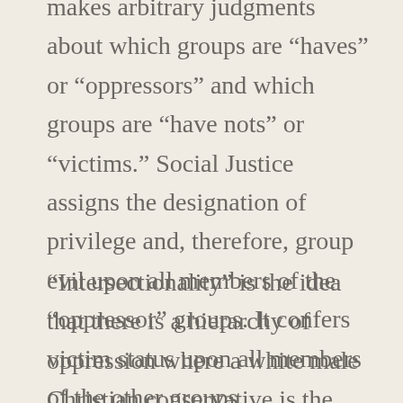makes arbitrary judgments about which groups are “haves” or “oppressors” and which groups are “have nots” or “victims.” Social Justice assigns the designation of privilege and, therefore, group evil upon all members of the “oppressor” groups. It confers victim status upon all members of the other groups.
“Intersectionality” is the idea that there is a hierarchy of oppression where a white male Christian conservative is the arch-privileged personification of evil and those who